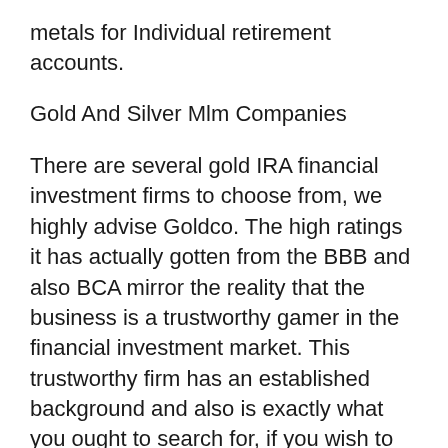metals for Individual retirement accounts.
Gold And Silver Mlm Companies
There are several gold IRA financial investment firms to choose from, we highly advise Goldco. The high ratings it has actually gotten from the BBB and also BCA mirror the reality that the business is a trustworthy gamer in the financial investment market. This trustworthy firm has an established background and also is exactly what you ought to search for, if you wish to enhance your wide range with silver or gold.
Goldco focuses on self routed Individual retirement accounts with rare earth